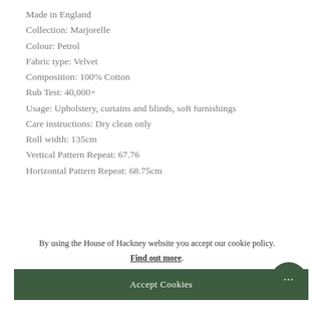Made in England
Collection: Marjorelle
Colour: Petrol
Fabric type: Velvet
Composition: 100% Cotton
Rub Test: 40,000+
Usage: Upholstery, curtains and blinds, soft furnishings
Care instructions: Dry clean only
Roll width: 135cm
Vertical Pattern Repeat: 67.76
Horizontal Pattern Repeat: 68.75cm
By using the House of Hackney website you accept our cookie policy. Find out more. Accept Cookies